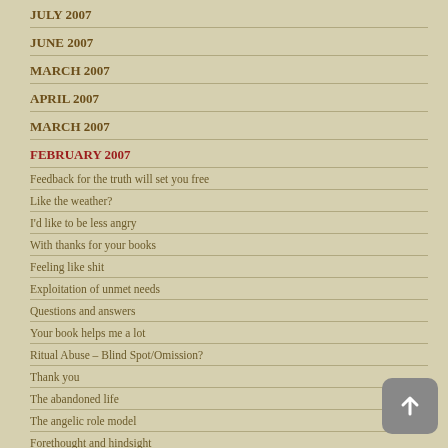JULY 2007
JUNE 2007
MARCH 2007
APRIL 2007
MARCH 2007
FEBRUARY 2007
Feedback for the truth will set you free
Like the weather?
I'd like to be less angry
With thanks for your books
Feeling like shit
Exploitation of unmet needs
Questions and answers
Your book helps me a lot
Ritual Abuse – Blind Spot/Omission?
Thank you
The abandoned life
The angelic role model
Forethought and hindsight
To please for love